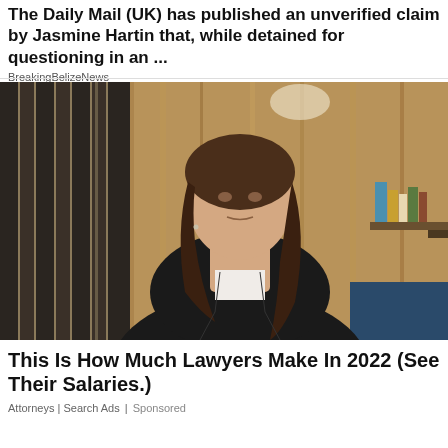The Daily Mail (UK) has published an unverified claim by Jasmine Hartin that, while detained for questioning in an ...
BreakingBelizeNews
[Figure (photo): Professional-looking woman with long dark hair, wearing a black blazer and white shirt, standing in front of wooden panel wall with blurred office/library background.]
This Is How Much Lawyers Make In 2022 (See Their Salaries.)
Attorneys | Search Ads | Sponsored